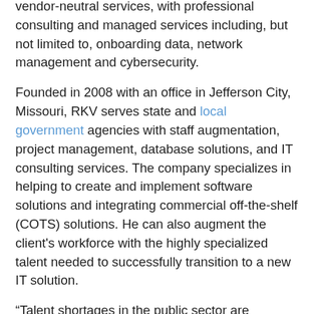vendor-neutral services, with professional consulting and managed services including, but not limited to, onboarding data, network management and cybersecurity.
Founded in 2008 with an office in Jefferson City, Missouri, RKV serves state and local government agencies with staff augmentation, project management, database solutions, and IT consulting services. The company specializes in helping to create and implement software solutions and integrating commercial off-the-shelf (COTS) solutions. He can also augment the client's workforce with the highly specialized talent needed to successfully transition to a new IT solution.
“Talent shortages in the public sector are everywhere, especially in technical roles,” said MCP President and CEO Darrin Reilly. “This comes at a time when government agencies are accelerating their pace of using innovative technologies to transform their operations. The acquisition of RKV strengthens our ability to help our customers